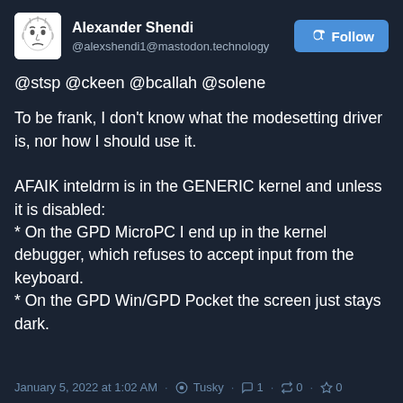Alexander Shendi @alexshendi1@mastodon.technology
@stsp @ckeen @bcallah @solene
To be frank, I don't know what the modesetting driver is, nor how I should use it.

AFAIK inteldrm is in the GENERIC kernel and unless it is disabled:
* On the GPD MicroPC I end up in the kernel debugger, which refuses to accept input from the keyboard.
* On the GPD Win/GPD Pocket the screen just stays dark.
January 5, 2022 at 1:02 AM · Tusky · 1 · 0 · 0